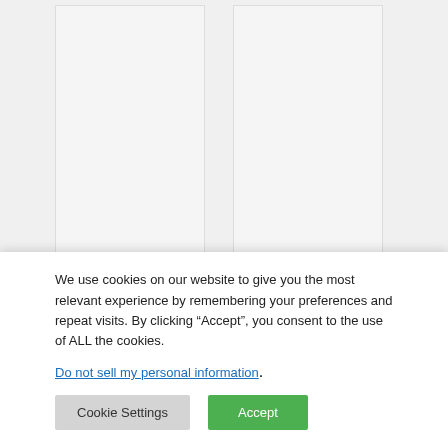[Figure (other): Card with logo area (blank/gray) and title 'Circle K']
[Figure (other): Card with logo area (blank/gray) and title 'Weis Markets']
Please note that some of these numbers are easier to find than others. A few of these Demoulas Market Basket statistics come from their own reports, but
We use cookies on our website to give you the most relevant experience by remembering your preferences and repeat visits. By clicking “Accept”, you consent to the use of ALL the cookies.
Do not sell my personal information.